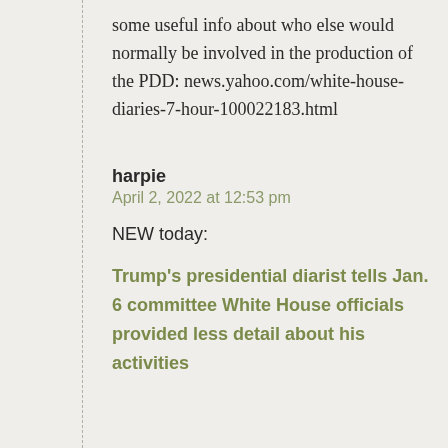some useful info about who else would normally be involved in the production of the PDD: news.yahoo.com/white-house-diaries-7-hour-100022183.html
harpie
April 2, 2022 at 12:53 pm
NEW today:
Trump's presidential diarist tells Jan. 6 committee White House officials provided less detail about his activities